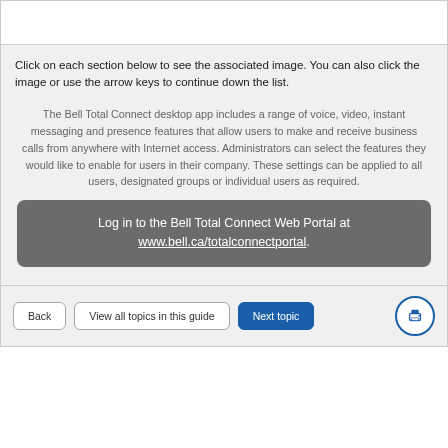[Figure (screenshot): Top white area representing a screenshot or image region above the main content]
Click on each section below to see the associated image. You can also click the image or use the arrow keys to continue down the list.
The Bell Total Connect desktop app includes a range of voice, video, instant messaging and presence features that allow users to make and receive business calls from anywhere with Internet access. Administrators can select the features they would like to enable for users in their company. These settings can be applied to all users, designated groups or individual users as required.
Log in to the Bell Total Connect Web Portal at www.bell.ca/totalconnectportal.
Back
View all topics in this guide
Next topic